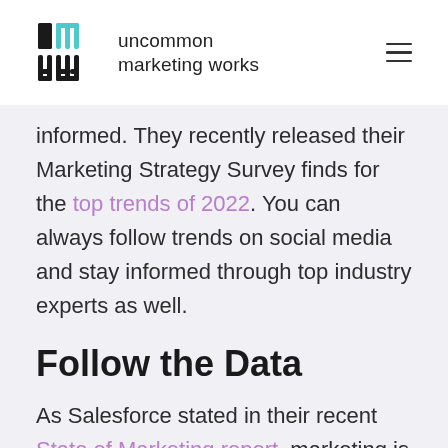uncommon marketing works
informed. They recently released their Marketing Strategy Survey finds for the top trends of 2022. You can always follow trends on social media and stay informed through top industry experts as well.
Follow the Data
As Salesforce stated in their recent State of Marketing report, marketing is spelled